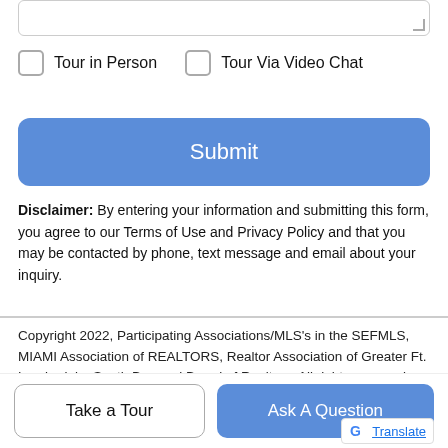Tour in Person
Tour Via Video Chat
Submit
Disclaimer: By entering your information and submitting this form, you agree to our Terms of Use and Privacy Policy and that you may be contacted by phone, text message and email about your inquiry.
Copyright 2022, Participating Associations/MLS's in the SEFMLS, MIAMI Association of REALTORS, Realtor Association of Greater Ft. Lauderdale, South Broward Board of Realtors. All rights reserved. The data relating to real estate for sale on this web site comes in part from the participating Associations/MLS's in the Southeast Florida Regional Multiple Listing Service cooperative agreement, MIAMI Association of REALTORS, Realtor Association of Greater Ft. Lauderdale, South Broward Board of Realtors. The
Take a Tour
Ask A Question
G Translate